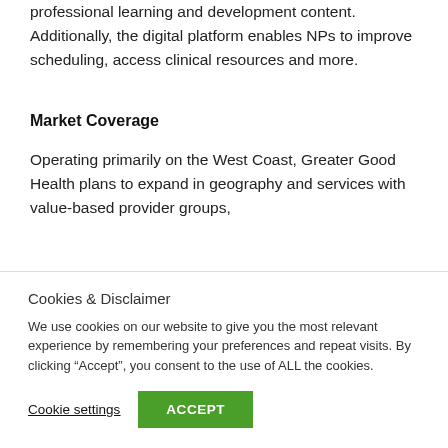professional learning and development content. Additionally, the digital platform enables NPs to improve scheduling, access clinical resources and more.
Market Coverage
Operating primarily on the West Coast, Greater Good Health plans to expand in geography and services with value-based provider groups,
Cookies & Disclaimer
We use cookies on our website to give you the most relevant experience by remembering your preferences and repeat visits. By clicking “Accept”, you consent to the use of ALL the cookies.
Cookie settings
ACCEPT